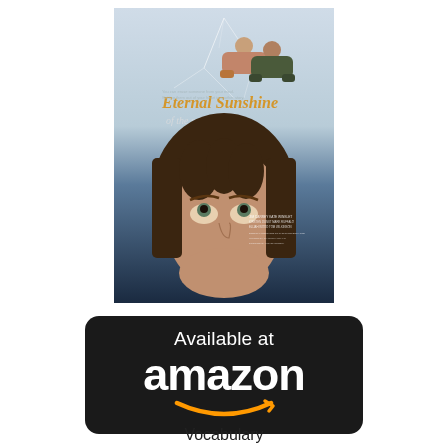[Figure (photo): Movie poster for 'Eternal Sunshine of the Spotless Mind' showing two people lying on ice at top, large close-up face looking upward at bottom, with movie title text and credits]
[Figure (logo): Amazon 'Available at amazon' badge with dark rounded rectangle background, white text 'Available at' and 'amazon' with orange smile/arrow logo]
Vocabulary